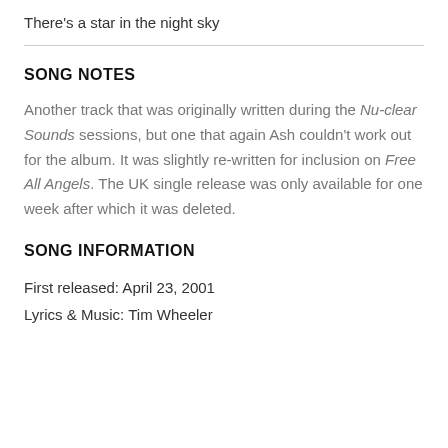There's a star in the night sky
SONG NOTES
Another track that was originally written during the Nu-clear Sounds sessions, but one that again Ash couldn't work out for the album. It was slightly re-written for inclusion on Free All Angels. The UK single release was only available for one week after which it was deleted.
SONG INFORMATION
First released: April 23, 2001
Lyrics & Music: Tim Wheeler